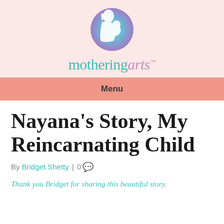[Figure (logo): Circular logo with gradient teal-to-purple showing a mother holding a child silhouette in white]
mothering arts™
Menu
Nayana's Story, My Reincarnating Child
By Bridget Shetty | 0 💬
Thank you Bridget for sharing this beautiful story.